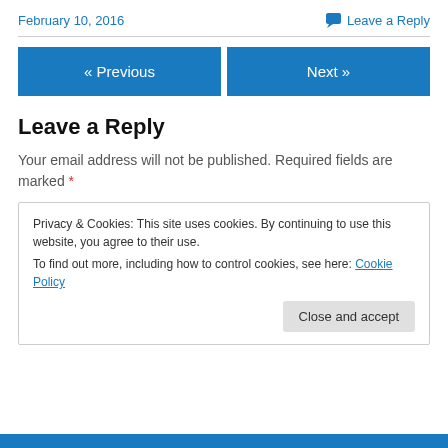February 10, 2016
Leave a Reply
« Previous
Next »
Leave a Reply
Your email address will not be published. Required fields are marked *
Privacy & Cookies: This site uses cookies. By continuing to use this website, you agree to their use.
To find out more, including how to control cookies, see here: Cookie Policy
Close and accept